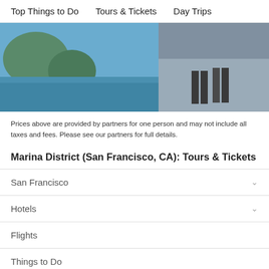Top Things to Do   Tours & Tickets   Day Trips
[Figure (photo): Two travel activity cards side by side: left card shows a scenic water/cliff view labeled 'Day Cruise' with 4.5 green dots rating and price 'from $139'; right card shows people walking labeled 'By Luxury Fun Tour' with 5 green dots rating and price 'from $99'.]
Prices above are provided by partners for one person and may not include all taxes and fees. Please see our partners for full details.
Marina District (San Francisco, CA): Tours & Tickets
San Francisco
Hotels
Flights
Things to Do
Forum
Best of 2022
More